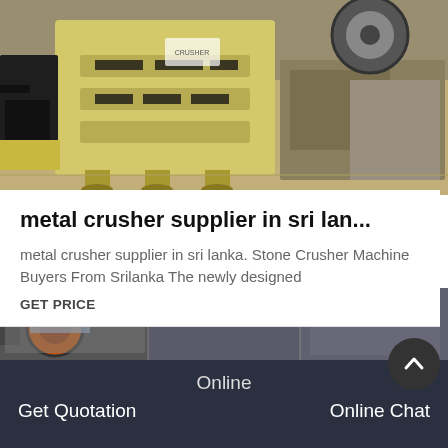[Figure (photo): Large yellow industrial jaw crusher machine on factory floor, with other heavy equipment visible in background of a large industrial warehouse]
metal crusher supplier in sri lan...
metal crusher supplier in sri lanka. Stone Crusher Machine Buyers From Srilanka The newly designed
GET PRICE
[Figure (photo): Industrial machinery in a factory setting, bottom portion of page]
Online
Get Quotation
Online Chat